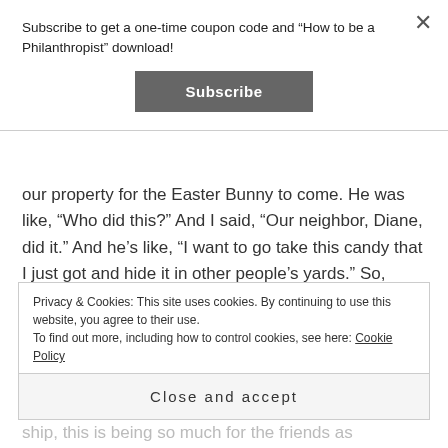Subscribe to get a one-time coupon code and “How to be a Philanthropist” download!
[Figure (other): Subscribe button (dark grey rectangular button with white text 'Subscribe')]
our property for the Easter Bunny to come. He was like, “Who did this?” And I said, “Our neighbor, Diane, did it.” And he’s like, “I want to go take this candy that I just got and hide it in other people’s yards.” So, again, it’s that ripple effect. It’s the little joys that come along the way that we’re not expecting. It’s just something that
Privacy & Cookies: This site uses cookies. By continuing to use this website, you agree to their use. To find out more, including how to control cookies, see here: Cookie Policy
Close and accept
[partially visible] ...ship, this is being so much for the friends as